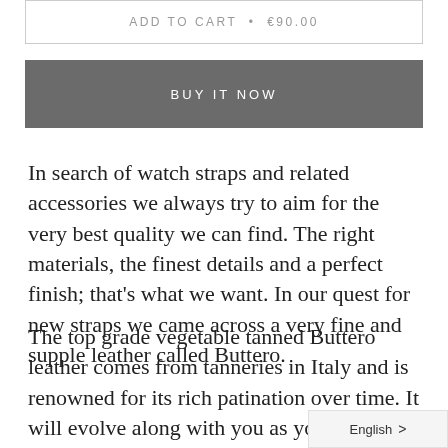ADD TO CART  •  €90.00
BUY IT NOW
In search of watch straps and related accessories we always try to aim for the very best quality we can find. The right materials, the finest details and a perfect finish; that's what we want. In our quest for new straps we came across a very fine and supple leather called Buttero.
The top grade vegetable tanned Buttero leather comes from tanneries in Italy and is renowned for its rich patination over time. It will evolve along with you as you we
English  >